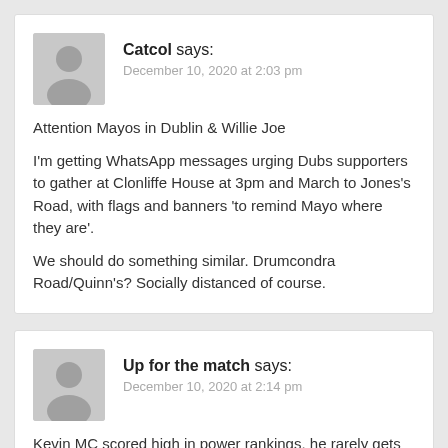Catcol says: December 10, 2020 at 2:03 pm
Attention Mayos in Dublin & Willie Joe
I'm getting WhatsApp messages urging Dubs supporters to gather at Clonliffe House at 3pm and March to Jones's Road, with flags and banners 'to remind Mayo where they are'.
We should do something similar. Drumcondra Road/Quinn's? Socially distanced of course.
Up for the match says: December 10, 2020 at 2:14 pm
Kevin MC scored high in power rankings, he rarely gets credit for work he does, great player and rarely has a bad game.